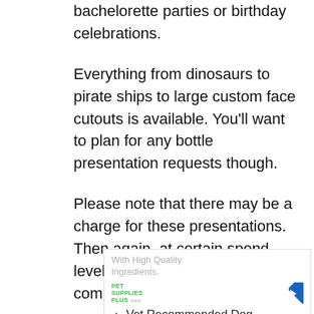bachelorette parties or birthday celebrations.
Everything from dinosaurs to pirate ships to large custom face cutouts is available. You’ll want to plan for any bottle presentation requests though.
Please note that there may be a charge for these presentations. Then again, at certain spend levels presentations are complimentary.
[Figure (screenshot): Advertisement for Pet Supplies Plus featuring text 'With High Quality Ingredients.' and 'Vet Recommended Dog Food...' with Pet Supplies Plus logo and navigation arrow icon]